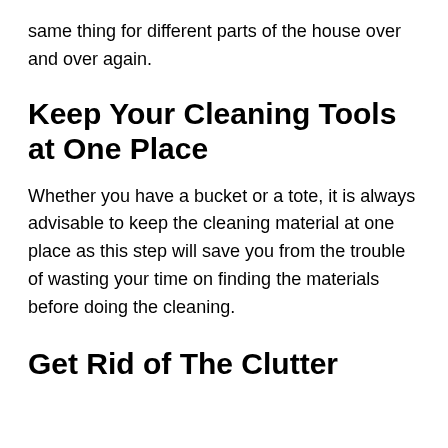same thing for different parts of the house over and over again.
Keep Your Cleaning Tools at One Place
Whether you have a bucket or a tote, it is always advisable to keep the cleaning material at one place as this step will save you from the trouble of wasting your time on finding the materials before doing the cleaning.
Get Rid of The Clutter